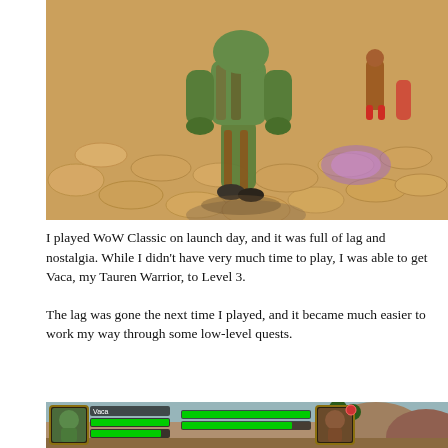[Figure (photo): Screenshot from World of Warcraft Classic showing a Tauren character (green-skinned) walking on a cobblestone path with other players nearby, with warm golden lighting on the stones.]
I played WoW Classic on launch day, and it was full of lag and nostalgia. While I didn't have very much time to play, I was able to get Vaca, my Tauren Warrior, to Level 3.
The lag was gone the next time I played, and it became much easier to work my way through some low-level quests.
[Figure (screenshot): World of Warcraft Classic UI screenshot showing character portrait, health and mana bars in green, and another character portrait, with a rocky outdoor environment in the background.]